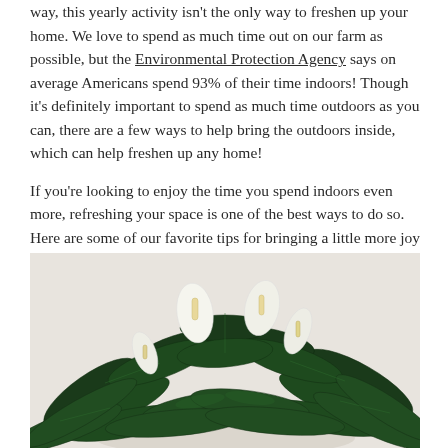way, this yearly activity isn't the only way to freshen up your home. We love to spend as much time out on our farm as possible, but the Environmental Protection Agency says on average Americans spend 93% of their time indoors! Though it's definitely important to spend as much time outdoors as you can, there are a few ways to help bring the outdoors inside, which can help freshen up any home!

If you're looking to enjoy the time you spend indoors even more, refreshing your space is one of the best ways to do so. Here are some of our favorite tips for bringing a little more joy indoors.
[Figure (photo): A lush peace lily (Spathiphyllum) plant with dark green leaves and several white spathe flowers, photographed against a light cream/beige background.]